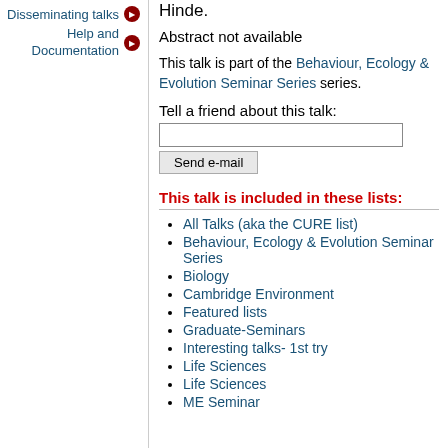Disseminating talks
Help and Documentation
Hinde.
Abstract not available
This talk is part of the Behaviour, Ecology & Evolution Seminar Series series.
Tell a friend about this talk:
This talk is included in these lists:
All Talks (aka the CURE list)
Behaviour, Ecology & Evolution Seminar Series
Biology
Cambridge Environment
Featured lists
Graduate-Seminars
Interesting talks- 1st try
Life Sciences
Life Sciences
ME Seminar